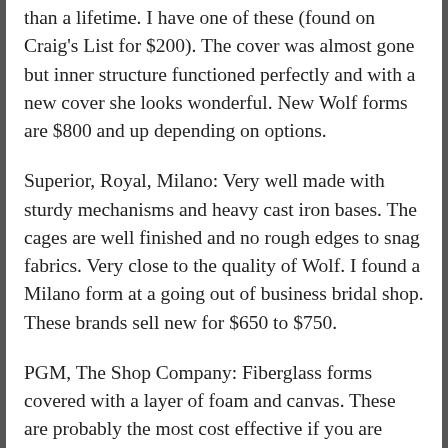than a lifetime. I have one of these (found on Craig's List for $200). The cover was almost gone but inner structure functioned perfectly and with a new cover she looks wonderful. New Wolf forms are $800 and up depending on options.
Superior, Royal, Milano: Very well made with sturdy mechanisms and heavy cast iron bases. The cages are well finished and no rough edges to snag fabrics. Very close to the quality of Wolf. I found a Milano form at a going out of business bridal shop. These brands sell new for $650 to $750.
PGM, The Shop Company: Fiberglass forms covered with a layer of foam and canvas. These are probably the most cost effective if you are buying a new form. PGM forms cost more ($299 to $229) than those from The Shop Company ($195 to $219). The skirt cage on the PGM form has more supporting wires than The Shop Company version. I've worked with